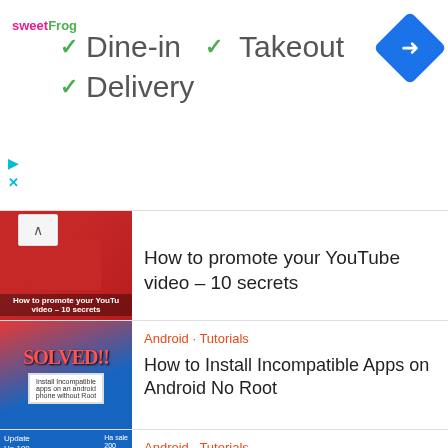[Figure (screenshot): Advertisement banner for sweetFrog with checkmarks for Dine-in, Takeout, Delivery and a Google Maps navigation icon]
How to promote your YouTube video – 10 secrets
Android · Tutorials
How to Install Incompatible Apps on Android No Root
Android · Tutorials
how to watch .MOV on android- Watch MOV files on...
Android · Emulators · IOS
Best GBA Emulators for Android, Windows, Mac
Android · Emulators